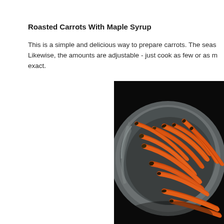Roasted Carrots With Maple Syrup
This is a simple and delicious way to prepare carrots. The seasoning is adjustable. Likewise, the amounts are adjustable - just cook as few or as many as you like - nothing needs to be exact.
[Figure (photo): Photo of roasted baby carrots in a round ceramic/metal bowl on a dark background, shot from above at an angle.]